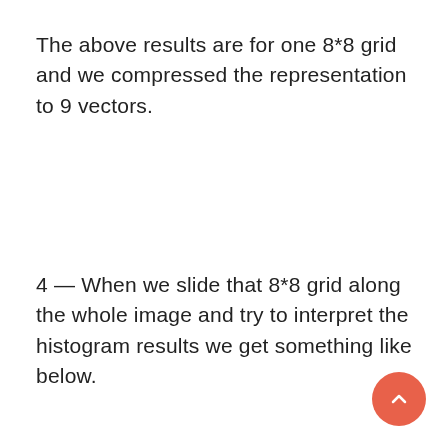The above results are for one 8*8 grid and we compressed the representation to 9 vectors.
4 — When we slide that 8*8 grid along the whole image and try to interpret the histogram results we get something like below.